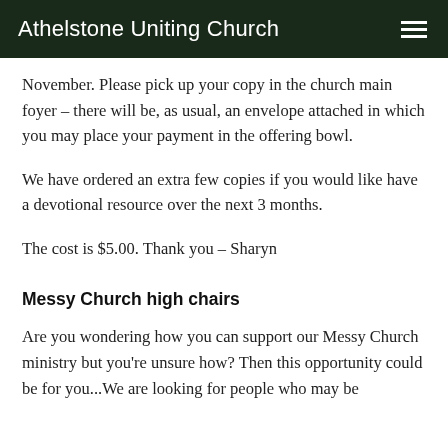Athelstone Uniting Church
November.  Please pick up your copy in the church main foyer – there will be, as usual, an envelope attached in which you may place your payment in the offering bowl.
We have ordered an extra few copies if you would like have a devotional resource over the next 3 months.
The cost is $5.00.   Thank you – Sharyn
Messy Church high chairs
Are you wondering how you can support our Messy Church ministry but you're unsure how?  Then this opportunity could be for you...We are looking for people who may be